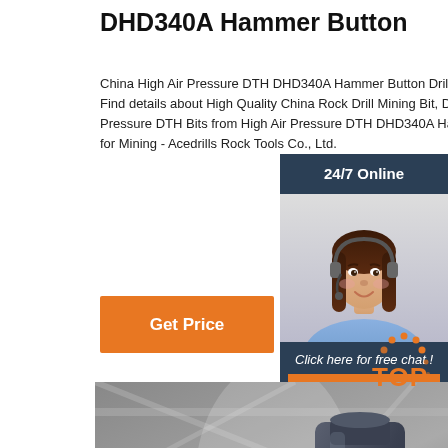DHD340A Hammer Button
China High Air Pressure DTH DHD340A Hammer Button Drill Bits for Mining/Drilling, Find details about High Quality China Rock Drill Mining Bit, Drilling Tools High Air Pressure DTH Bits from High Air Pressure DTH DHD340A Hammer Button Drill Bits for Mining - Acedrills Rock Tools Co., Ltd.
Get Price
24/7 Online
[Figure (photo): Customer service representative with headset, smiling]
Click here for free chat !
QUOTATION
[Figure (photo): Large industrial DTH hammer button drill bit in a factory setting]
[Figure (logo): TOP badge logo in orange]